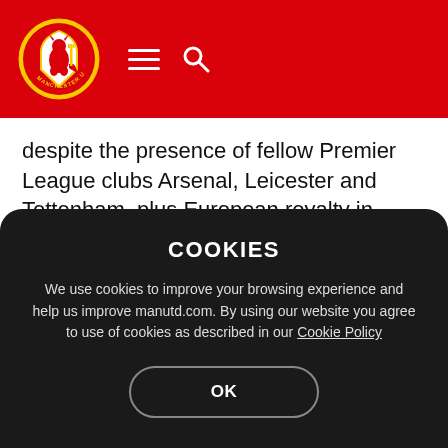Manchester United website header with logo, hamburger menu and search icon
despite the presence of fellow Premier League clubs Arsenal, Leicester and Tottenham, plus European royalty in Ajax, Benfica and Milan.
“I don’t see much Spanish football these days but I know they [Real Sociedad] had a great start to the season,” our former no.18 continued.
COOKIES
We use cookies to improve your browsing experience and help us improve manutd.com. By using our website you agree to use of cookies as described in our Cookie Policy
OK